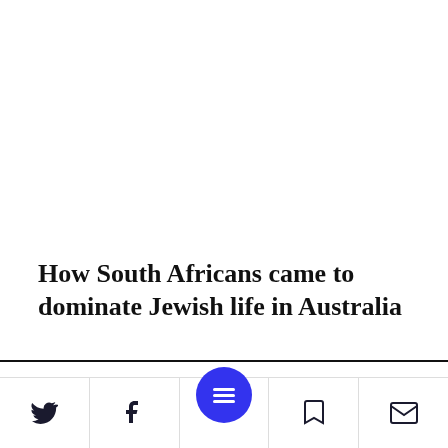How South Africans came to dominate Jewish life in Australia
Comments